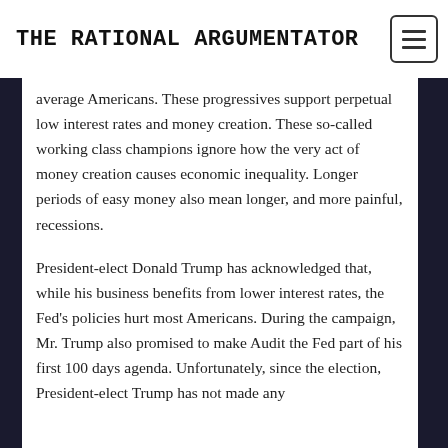THE RATIONAL ARGUMENTATOR
average Americans. These progressives support perpetual low interest rates and money creation. These so-called working class champions ignore how the very act of money creation causes economic inequality. Longer periods of easy money also mean longer, and more painful, recessions.
President-elect Donald Trump has acknowledged that, while his business benefits from lower interest rates, the Fed’s policies hurt most Americans. During the campaign, Mr. Trump also promised to make Audit the Fed part of his first 100 days agenda. Unfortunately, since the election, President-elect Trump has not made any